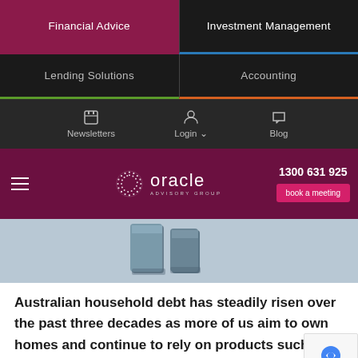Financial Advice | Investment Management | Lending Solutions | Accounting
Newsletters | Login | Blog
[Figure (logo): Oracle Advisory Group logo with phone number 1300 631 925 and book a meeting button]
[Figure (photo): Hero image showing 3D debt letters on light blue background]
Australian household debt has steadily risen over the past three decades as more of us aim to own homes and continue to rely on products such as car